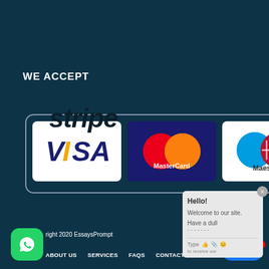WE ACCEPT
[Figure (logo): Stripe payment processor logo with payment card logos: VISA, MasterCard, Maestro, American Express inside a rounded rectangle border]
[Figure (screenshot): Chat popup widget saying Hello! Welcome to our site. Have a dull... with Type input bar and emoji icons]
[Figure (logo): WhatsApp green rounded square icon]
right 2020 EssaysPrompt
ABOUT US   SERVICES   FAQS   CONTACT US
[Figure (other): Blue Chat button with red badge showing 1]